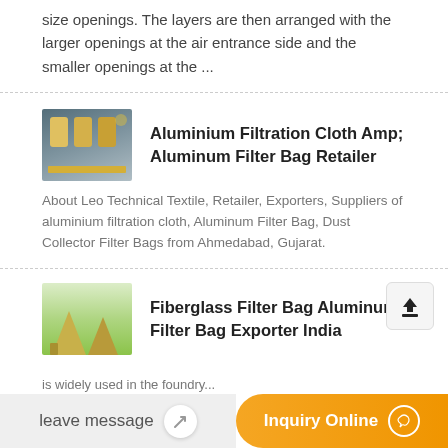size openings. The layers are then arranged with the larger openings at the air entrance side and the smaller openings at the ...
[Figure (photo): Industrial rolls or coils of aluminium filtration material stacked on shelves in a warehouse]
Aluminium Filtration Cloth Amp; Aluminum Filter Bag Retailer
About Leo Technical Textile, Retailer, Exporters, Suppliers of aluminium filtration cloth, Aluminum Filter Bag, Dust Collector Filter Bags from Ahmedabad, Gujarat.
[Figure (photo): Industrial cone-shaped filter bag machinery in a factory, second listing thumbnail]
Fiberglass Filter Bag Aluminum Filter Bag Exporter India
is widely used in the foundry...